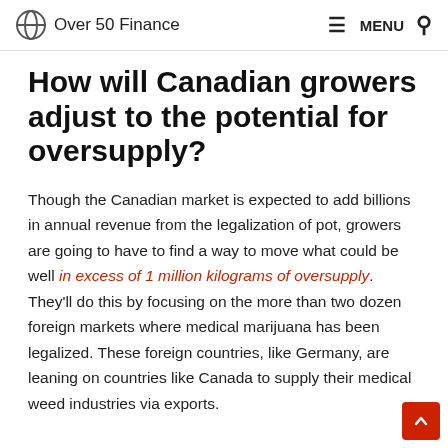Over 50 Finance — MENU
How will Canadian growers adjust to the potential for oversupply?
Though the Canadian market is expected to add billions in annual revenue from the legalization of pot, growers are going to have to find a way to move what could be well in excess of 1 million kilograms of oversupply. They'll do this by focusing on the more than two dozen foreign markets where medical marijuana has been legalized. These foreign countries, like Germany, are leaning on countries like Canada to supply their medical weed industries via exports.